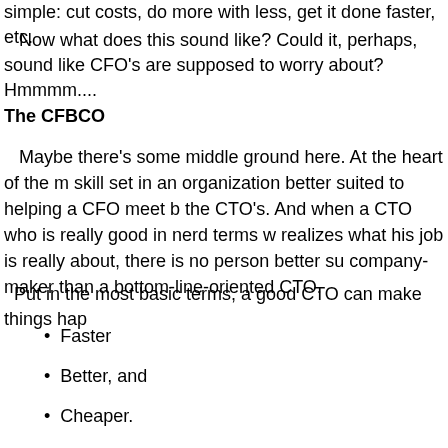simple: cut costs, do more with less, get it done faster, etc.
Now what does this sound like? Could it, perhaps, sound like CFO's are supposed to worry about? Hmmmm....
The CFBCO
Maybe there's some middle ground here. At the heart of the m skill set in an organization better suited to helping a CFO meet b the CTO's. And when a CTO who is really good in nerd terms w realizes what his job is really about, there is no person better su company-maker than a bottom-line-oriented CTO.
Put in the most basic terms, a good CTO can make things hap
Faster
Better, and
Cheaper.
Faster, better, cheaper. That's computing in a nutshell, and wh